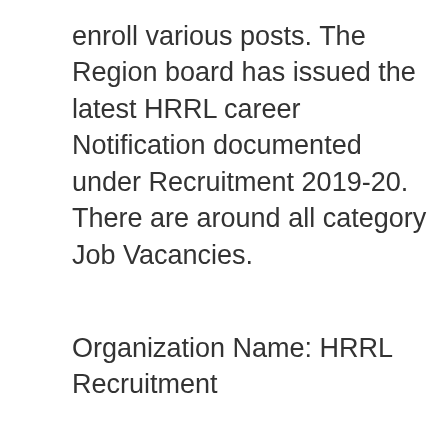enroll various posts. The Region board has issued the latest HRRL career Notification documented under Recruitment 2019-20. There are around all category Job Vacancies.
Organization Name: HRRL Recruitment